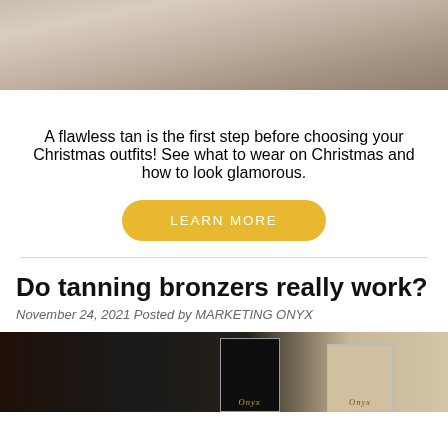[Figure (photo): Top portion of a fashion/lifestyle photo showing shoes and gift boxes on a wooden floor background]
A flawless tan is the first step before choosing your Christmas outfits! See what to wear on Christmas and how to look glamorous.
LEARN MORE
Do tanning bronzers really work?
November 24, 2021 Posted by MARKETING ONYX
[Figure (photo): Bottom portion showing a woman in a black dress with jewelry and Onyx branded product boxes]